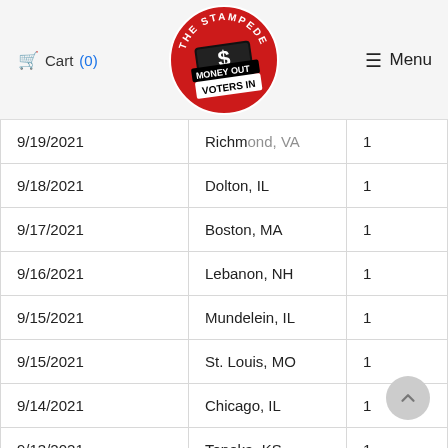Cart (0) [Logo: The Stampede - Money Out Voters In] Menu
| Date | Location | Qty |
| --- | --- | --- |
| 9/19/2021 | Richmond, VA | 1 |
| 9/18/2021 | Dolton, IL | 1 |
| 9/17/2021 | Boston, MA | 1 |
| 9/16/2021 | Lebanon, NH | 1 |
| 9/15/2021 | Mundelein, IL | 1 |
| 9/15/2021 | St. Louis, MO | 1 |
| 9/14/2021 | Chicago, IL | 1 |
| 9/13/2021 | Topeka, KS | 1 |